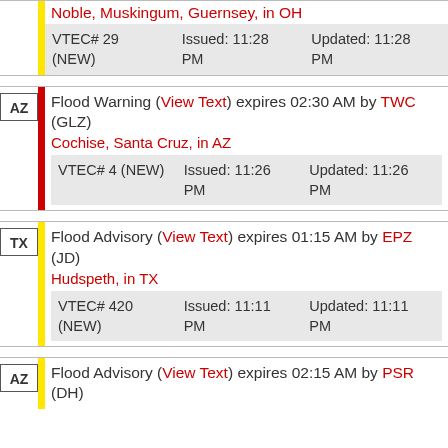Noble, Muskingum, Guernsey, in OH
| VTEC# 29 (NEW) | Issued: 11:28 PM | Updated: 11:28 PM |
Flood Warning (View Text) expires 02:30 AM by TWC (GLZ)
Cochise, Santa Cruz, in AZ
| VTEC# 4 (NEW) | Issued: 11:26 PM | Updated: 11:26 PM |
Flood Advisory (View Text) expires 01:15 AM by EPZ (JD)
Hudspeth, in TX
| VTEC# 420 (NEW) | Issued: 11:11 PM | Updated: 11:11 PM |
Flood Advisory (View Text) expires 02:15 AM by PSR (DH)